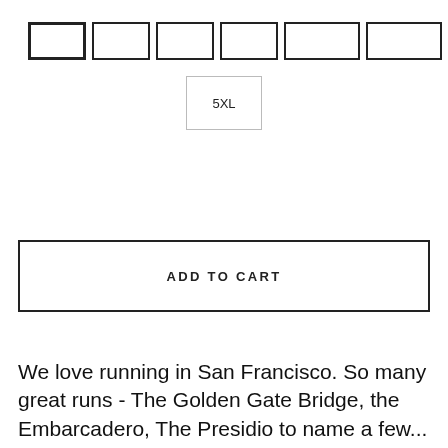[Figure (other): Row of size selector buttons (partially visible, first button selected with bold border), followed by a 5XL size button below]
5XL
ADD TO CART
We love running in San Francisco. So many great runs - The Golden Gate Bridge, the Embarcadero, The Presidio to name a few...